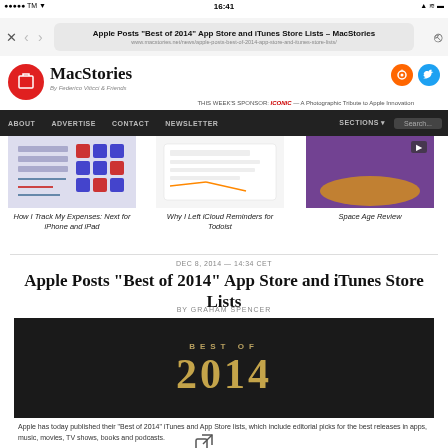Apple Posts “Best of 2014” App Store and iTunes Store Lists – MacStories | www.macstories.net/news/apple-posts-best-of-2014-app-store-and-itunes-store-lists/
[Figure (screenshot): MacStories website logo with red circular bookmark icon, MacStories text, tagline 'By Federico Viticci & Friends', RSS and Twitter social icons, sponsor text 'THIS WEEK'S SPONSOR: ICONIC — A Photographic Tribute to Apple Innovation']
[Figure (screenshot): MacStories navigation bar with links: ABOUT, ADVERTISE, CONTACT, NEWSLETTER, SECTIONS, Search field]
[Figure (screenshot): Three article thumbnail images: 'How I Track My Expenses: Next for iPhone and iPad', 'Why I Left iCloud Reminders for Todoist', 'Space Age Review']
DEC 8, 2014 — 14:34 CET
Apple Posts “Best of 2014” App Store and iTunes Store Lists
BY GRAHAM SPENCER
[Figure (screenshot): Dark banner image with golden text 'BEST OF 2014']
Apple has today published their "Best of 2014" iTunes and App Store lists, which include editorial picks for the best releases in apps, music, movies, TV shows, books and podcasts.
The only nice touch of Twitter’s web view is that it displays the full URL of a webpage in the title bar under the webpage’s title. [5] Twitter also displays a